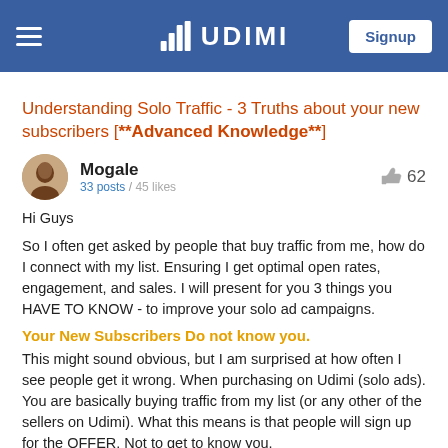UDIMI — Signup
Understanding Solo Traffic - 3 Truths about your new subscribers [**Advanced Knowledge**]
Mogale
33 posts / 45 likes
👍 62
Hi Guys
So I often get asked by people that buy traffic from me, how do I connect with my list. Ensuring I get optimal open rates, engagement, and sales. I will present for you 3 things you HAVE TO KNOW - to improve your solo ad campaigns.
Your New Subscribers Do not know you.
This might sound obvious, but I am surprised at how often I see people get it wrong. When purchasing on Udimi (solo ads). You are basically buying traffic from my list (or any other of the sellers on Udimi). What this means is that people will sign up for the OFFER. Not to get to know you.